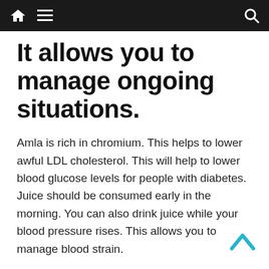Navigation bar with home, menu, and search icons
It allows you to manage ongoing situations.
Amla is rich in chromium. This helps to lower awful LDL cholesterol. This will help to lower blood glucose levels for people with diabetes. Juice should be consumed early in the morning. You can also drink juice while your blood pressure rises. This allows you to manage blood strain.
How does Amla perform?